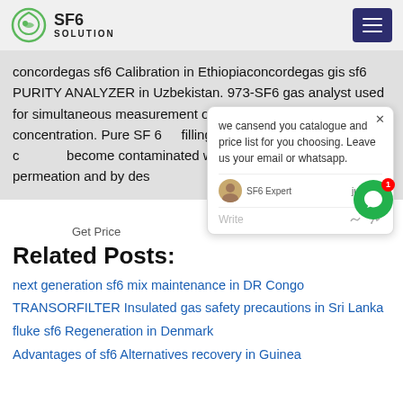SF6 SOLUTION
concordegas sf6 Calibration in Ethiopiaconcordegas gis sf6 PURITY ANALYZER in Uzbekistan. 973-SF6 gas analyst used for simultaneous measurement of humidity and SO 2 concentration. Pure SF 6 filling within GIS, but over time gas become contaminated with water vapour through permeation and by des materials.
we cansend you catalogue and price list for you choosing. Leave us your email or whatsapp.
SF6 Expert   justnow
Write
Get Price
Related Posts:
next generation sf6 mix maintenance in DR Congo
TRANSORFILTER Insulated gas safety precautions in Sri Lanka
fluke sf6 Regeneration in Denmark
Advantages of sf6 Alternatives recovery in Guinea